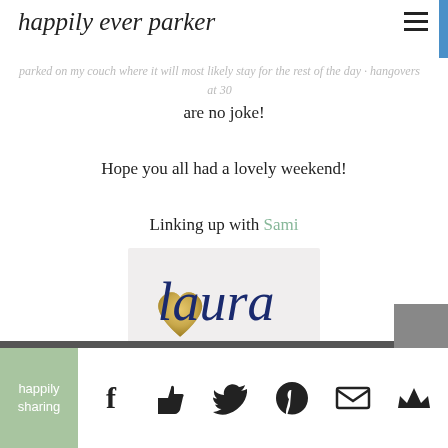happily ever parker
parked on my couch where it will most likely stay for the rest of the day · hangovers at 30 are no joke!
Hope you all had a lovely weekend!
Linking up with Sami
[Figure (illustration): A signature image showing a gold glitter heart followed by the name 'laura' written in navy blue cursive script on a light background.]
happily sharing